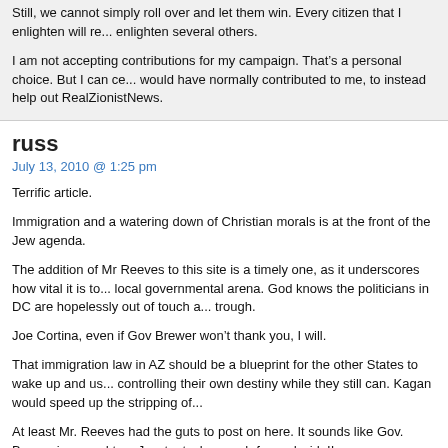Still, we cannot simply roll over and let them win. Every citizen that I enlighten will re... enlighten several others.
I am not accepting contributions for my campaign. That's a personal choice. But I can ce... would have normally contributed to me, to instead help out RealZionistNews.
russ
July 13, 2010 @ 1:25 pm
Terrific article.
Immigration and a watering down of Christian morals is at the front of the Jew agenda.
The addition of Mr Reeves to this site is a timely one, as it underscores how vital it is to... local governmental arena. God knows the politicians in DC are hopelessly out of touch a... trough.
Joe Cortina, even if Gov Brewer won't thank you, I will.
That immigration law in AZ should be a blueprint for the other States to wake up and us... controlling their own destiny while they still can. Kagan would speed up the stripping of...
At least Mr. Reeves had the guts to post on here. It sounds like Gov. Brewer is scared to... Jew tentacles reach far and wide!!
Anyhow I wish you luck in your campaign Jeffery Reeves, I hope you open many eyes to... vipers.